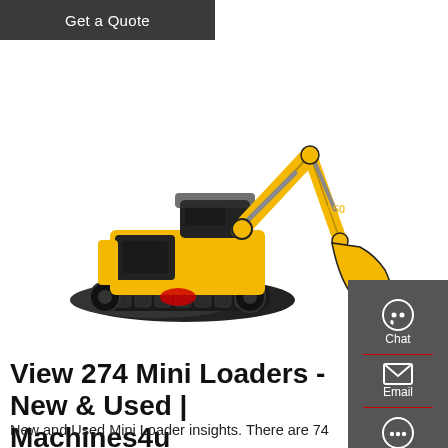Get a Quote
[Figure (photo): Yellow mini excavator/mini loader with black tracks and yellow bucket arm, on white background]
[Figure (other): Right sidebar with Chat, Email, and Contact icons on dark grey background with red dividers]
View 274 Mini Loaders - New & Used | Machines4u
New and Used Mini Loader insights. There are 74